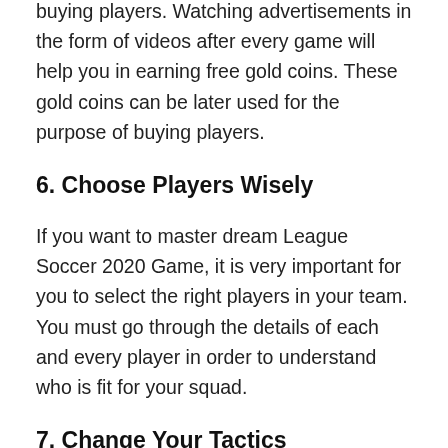buying players. Watching advertisements in the form of videos after every game will help you in earning free gold coins. These gold coins can be later used for the purpose of buying players.
6. Choose Players Wisely
If you want to master dream League Soccer 2020 Game, it is very important for you to select the right players in your team. You must go through the details of each and every player in order to understand who is fit for your squad.
7. Change Your Tactics
Bringing variation in the tactics is very important in a soccer game. This is because using the same tactic will be allowed the opponent to understand them. Hence, the opponent will